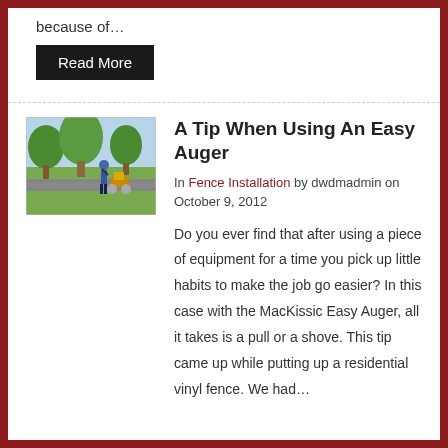because of…
Read More
A Tip When Using An Easy Auger
In Fence Installation by dwdmadmin on October 9, 2012
[Figure (photo): Outdoor photo of a person using an Easy Auger machine near trees and a paved path]
Do you ever find that after using a piece of equipment for a time you pick up little habits to make the job go easier? In this case with the MacKissic Easy Auger, all it takes is a pull or a shove. This tip came up while putting up a residential vinyl fence. We had…